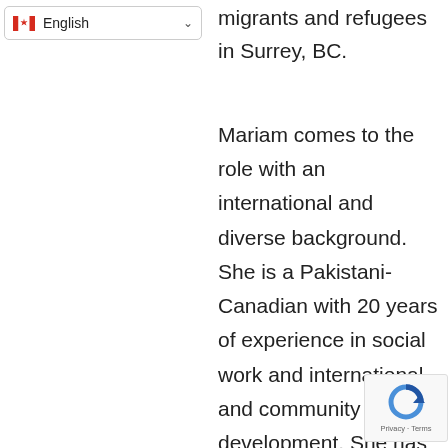English
migrants and refugees in Surrey, BC.
Mariam comes to the role with an international and diverse background. She is a Pakistani-Canadian with 20 years of experience in social work and international and community development. She has worked in the settlement sector with immigrants, newcomers and refugees for several years and, most recently, co-founded and led a project that provides pathways to equitable leadership positions